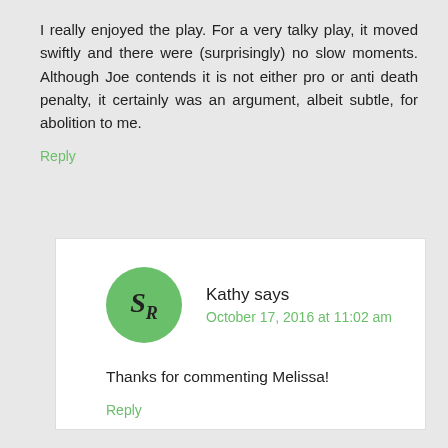I really enjoyed the play. For a very talky play, it moved swiftly and there were (surprisingly) no slow moments. Although Joe contends it is not either pro or anti death penalty, it certainly was an argument, albeit subtle, for abolition to me.
Reply
Kathy says
October 17, 2016 at 11:02 am
Thanks for commenting Melissa!
Reply